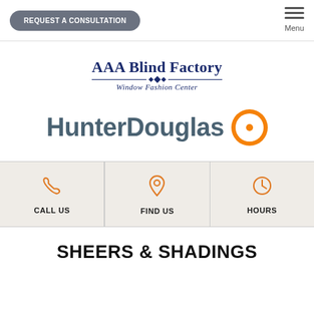REQUEST A CONSULTATION | Menu
[Figure (logo): AAA Blind Factory Window Fashion Center logo with decorative horizontal rule]
[Figure (logo): HunterDouglas logo with orange pinwheel icon]
CALL US | FIND US | HOURS
SHEERS & SHADINGS